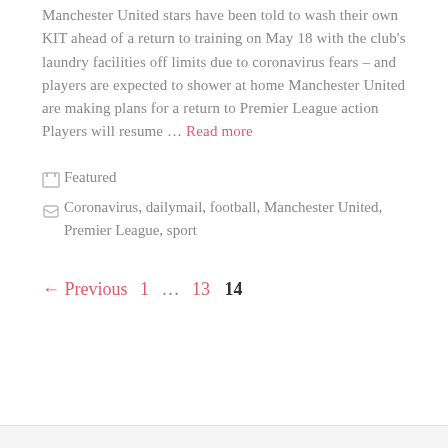Manchester United stars have been told to wash their own KIT ahead of a return to training on May 18 with the club's laundry facilities off limits due to coronavirus fears – and players are expected to shower at home Manchester United are making plans for a return to Premier League action Players will resume … Read more
Featured
Coronavirus, dailymail, football, Manchester United, Premier League, sport
← Previous  1  …  13  14